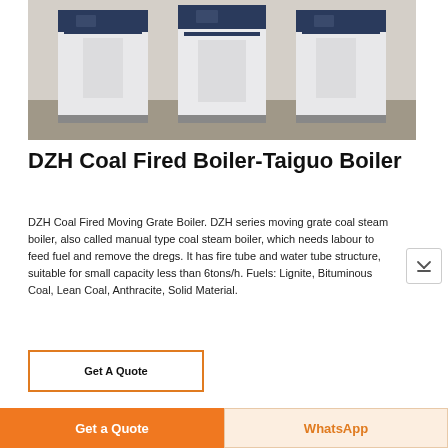[Figure (photo): Industrial boiler units — tall white and dark blue rectangular boiler cabinets installed in a room with concrete floor]
DZH Coal Fired Boiler-Taiguo Boiler
DZH Coal Fired Moving Grate Boiler. DZH series moving grate coal steam boiler, also called manual type coal steam boiler, which needs labour to feed fuel and remove the dregs. It has fire tube and water tube structure, suitable for small capacity less than 6tons/h. Fuels: Lignite, Bituminous Coal, Lean Coal, Anthracite, Solid Material.
Get A Quote
Get a Quote
WhatsApp